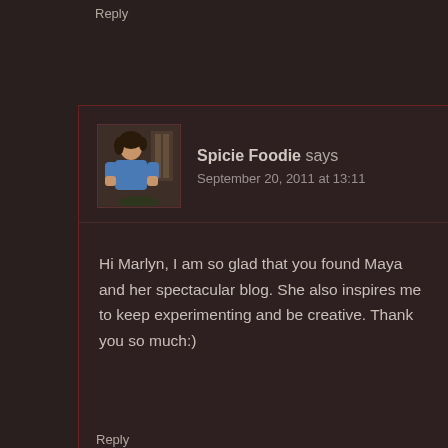Reply
[Figure (photo): Avatar photo of Spicie Foodie, a woman in a blue top with a kitchen/window background]
Spicie Foodie says
September 20, 2011 at 13:11
Hi Marlyn, I am so glad that you found Maya and her spectacular blog. She also inspires me to keep experimenting and be creative. Thank you so much:)
Reply